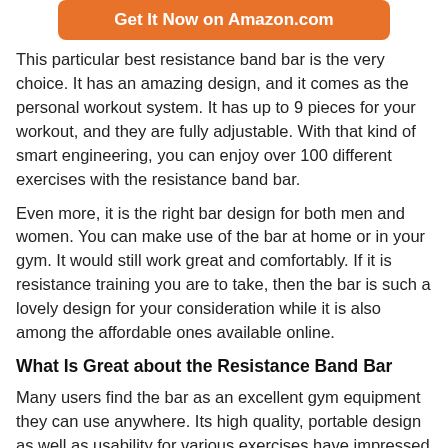[Figure (other): Orange rounded button with white text 'Get It Now on Amazon.com']
This particular best resistance band bar is the very choice. It has an amazing design, and it comes as the personal workout system. It has up to 9 pieces for your workout, and they are fully adjustable. With that kind of smart engineering, you can enjoy over 100 different exercises with the resistance band bar.
Even more, it is the right bar design for both men and women. You can make use of the bar at home or in your gym. It would still work great and comfortably. If it is resistance training you are to take, then the bar is such a lovely design for your consideration while it is also among the affordable ones available online.
What Is Great about the Resistance Band Bar
Many users find the bar as an excellent gym equipment they can use anywhere. Its high quality, portable design as well as usability for various exercises have impressed many who love burning their calories from their bodies. Lots of reviews are just happy for the reason.
What Isn't Great about the Resistance Band Bar